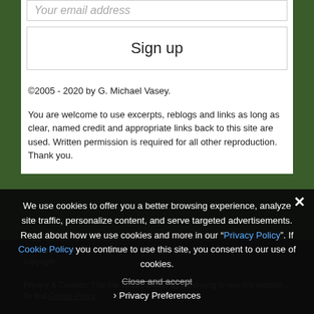Your email address
Sign up
©2005 - 2020 by G. Michael Vasey.
You are welcome to use excerpts, reblogs and links as long as clear, named credit and appropriate links back to this site are used. Written permission is required for all other reproduction. Thank you.
Photographs are the property of their original owners and may be subject to copyright...
Privacy & Cookies: This site uses cookies. By continuing to use this website...
To find...
We use cookies to offer you a better browsing experience, analyze site traffic, personalize content, and serve targeted advertisements. Read about how we use cookies and more in our "Privacy Policy". If you continue to use this site, you consent to our use of cookies.
Close and accept
Privacy Preferences